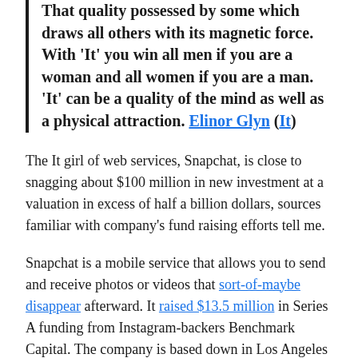That quality possessed by some which draws all others with its magnetic force. With 'It' you win all men if you are a woman and all women if you are a man. 'It' can be a quality of the mind as well as a physical attraction. Elinor Glyn (It)
The It girl of web services, Snapchat, is close to snagging about $100 million in new investment at a valuation in excess of half a billion dollars, sources familiar with company's fund raising efforts tell me.
Snapchat is a mobile service that allows you to send and receive photos or videos that sort-of-maybe disappear afterward. It raised $13.5 million in Series A funding from Instagram-backers Benchmark Capital. The company is based down in Los Angeles and has eschewed the Valley way to chart its own course.
The red-hot company has been fielding funding